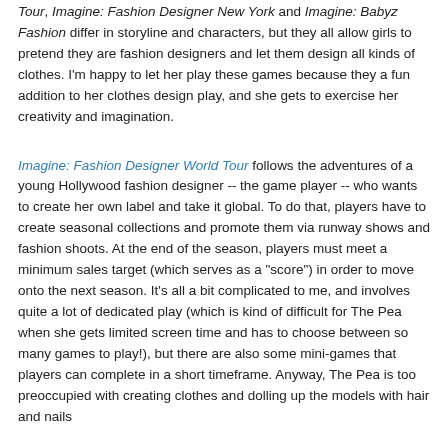Tour, Imagine: Fashion Designer New York and Imagine: Babyz Fashion differ in storyline and characters, but they all allow girls to pretend they are fashion designers and let them design all kinds of clothes. I'm happy to let her play these games because they a fun addition to her clothes design play, and she gets to exercise her creativity and imagination.
Imagine: Fashion Designer World Tour follows the adventures of a young Hollywood fashion designer -- the game player -- who wants to create her own label and take it global. To do that, players have to create seasonal collections and promote them via runway shows and fashion shoots. At the end of the season, players must meet a minimum sales target (which serves as a "score") in order to move onto the next season. It's all a bit complicated to me, and involves quite a lot of dedicated play (which is kind of difficult for The Pea when she gets limited screen time and has to choose between so many games to play!), but there are also some mini-games that players can complete in a short timeframe. Anyway, The Pea is too preoccupied with creating clothes and dolling up the models with hair and nails